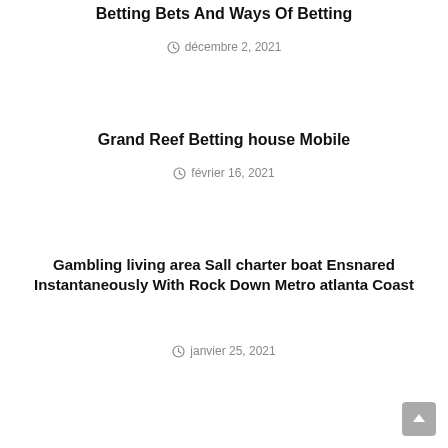Betting Bets And Ways Of Betting
décembre 2, 2021
Grand Reef Betting house Mobile
février 16, 2021
Gambling living area Sall charter boat Ensnared Instantaneously With Rock Down Metro atlanta Coast
janvier 25, 2021